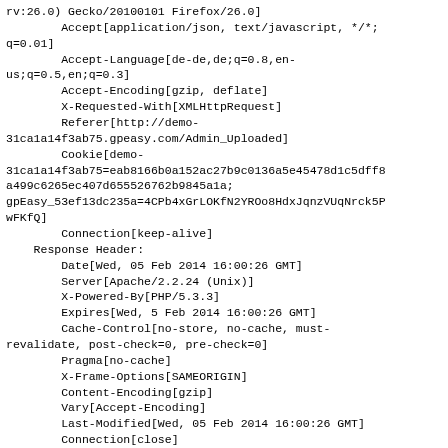rv:26.0) Gecko/20100101 Firefox/26.0]
        Accept[application/json, text/javascript, */*;
q=0.01]
        Accept-Language[de-de,de;q=0.8,en-
us;q=0.5,en;q=0.3]
        Accept-Encoding[gzip, deflate]
        X-Requested-With[XMLHttpRequest]
        Referer[http://demo-
31ca1a14f3ab75.gpeasy.com/Admin_Uploaded]
        Cookie[demo-
31ca1a14f3ab75=eab8166b0a152ac27b9c0136a5e45478d1c5dff8
a499c6265ec407d655526762b9845a1a;
gpEasy_53ef13dc235a=4CPb4xGrLOKfN2YROo8HdxJqnzVUqNrck5P
wFKfQ]
        Connection[keep-alive]
    Response Header:
        Date[Wed, 05 Feb 2014 16:00:26 GMT]
        Server[Apache/2.2.24 (Unix)]
        X-Powered-By[PHP/5.3.3]
        Expires[Wed, 5 Feb 2014 16:00:26 GMT]
        Cache-Control[no-store, no-cache, must-
revalidate, post-check=0, pre-check=0]
        Pragma[no-cache]
        X-Frame-Options[SAMEORIGIN]
        Content-Encoding[gzip]
        Vary[Accept-Encoding]
        Last-Modified[Wed, 05 Feb 2014 16:00:26 GMT]
        Connection[close]
        Transfer-Encoding[chunked]
        Content-Type[text/html; charset=utf-8]